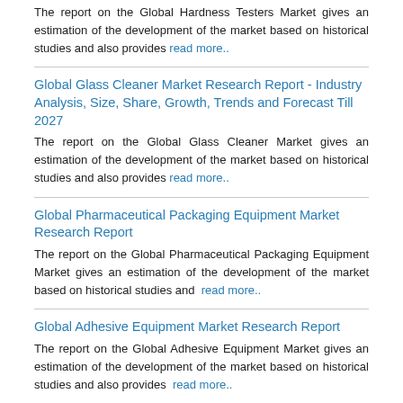The report on the Global Hardness Testers Market gives an estimation of the development of the market based on historical studies and also provides read more..
Global Glass Cleaner Market Research Report - Industry Analysis, Size, Share, Growth, Trends and Forecast Till 2027
The report on the Global Glass Cleaner Market gives an estimation of the development of the market based on historical studies and also provides read more..
Global Pharmaceutical Packaging Equipment Market Research Report
The report on the Global Pharmaceutical Packaging Equipment Market gives an estimation of the development of the market based on historical studies and  read more..
Global Adhesive Equipment Market Research Report
The report on the Global Adhesive Equipment Market gives an estimation of the development of the market based on historical studies and also provides  read more..
Global Construction Equipment Market Research Report